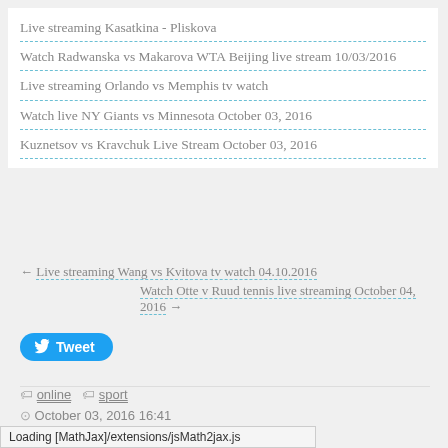Live streaming Kasatkina - Pliskova
Watch Radwanska vs Makarova WTA Beijing live stream 10/03/2016
Live streaming Orlando vs Memphis tv watch
Watch live NY Giants vs Minnesota October 03, 2016
Kuznetsov vs Kravchuk Live Stream October 03, 2016
← Live streaming Wang vs Kvitova tv watch 04.10.2016
Watch Otte v Ruud tennis live streaming October 04, 2016 →
[Figure (other): Tweet button with Twitter bird icon]
online   sport
October 03, 2016 16:41
Permalink
Loading [MathJax]/extensions/jsMath2jax.js